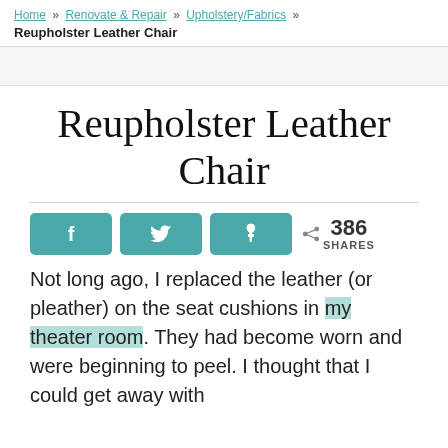Home » Renovate & Repair » Upholstery/Fabrics » Reupholster Leather Chair
Reupholster Leather Chair
[Figure (infographic): Social share buttons: Facebook, Twitter, Pinterest. Share count: 386 SHARES]
Not long ago, I replaced the leather (or pleather) on the seat cushions in my theater room. They had become worn and were beginning to peel. I thought that I could get away with